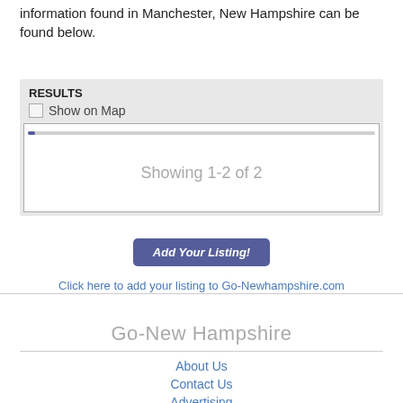information found in Manchester, New Hampshire can be found below.
RESULTS
Show on Map
Showing  1-2 of 2
Add Your Listing!
Click here to add your listing to Go-Newhampshire.com
Go-New Hampshire
About Us
Contact Us
Advertising